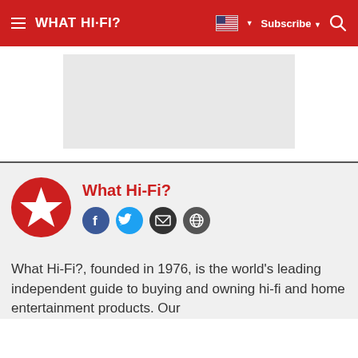WHAT HI-FI?
[Figure (other): Grey advertisement placeholder rectangle]
What Hi-Fi?
[Figure (logo): What Hi-Fi? red circle logo with white star, with Facebook, Twitter, email and website social icons]
What Hi-Fi?, founded in 1976, is the world's leading independent guide to buying and owning hi-fi and home entertainment products. Our